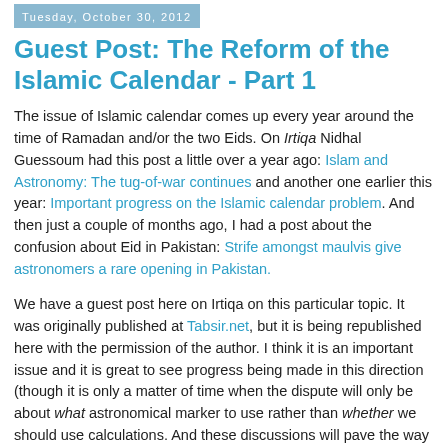Tuesday, October 30, 2012
Guest Post: The Reform of the Islamic Calendar - Part 1
The issue of Islamic calendar comes up every year around the time of Ramadan and/or the two Eids. On Irtiqa Nidhal Guessoum had this post a little over a year ago: Islam and Astronomy: The tug-of-war continues and another one earlier this year: Important progress on the Islamic calendar problem. And then just a couple of months ago, I had a post about the confusion about Eid in Pakistan: Strife amongst maulvis give astronomers a rare opening in Pakistan.
We have a guest post here on Irtiqa on this particular topic. It was originally published at Tabsir.net, but it is being republished here with the permission of the author. I think it is an important issue and it is great to see progress being made in this direction (though it is only a matter of time when the dispute will only be about what astronomical marker to use rather than whether we should use calculations. And these discussions will pave the way for that).